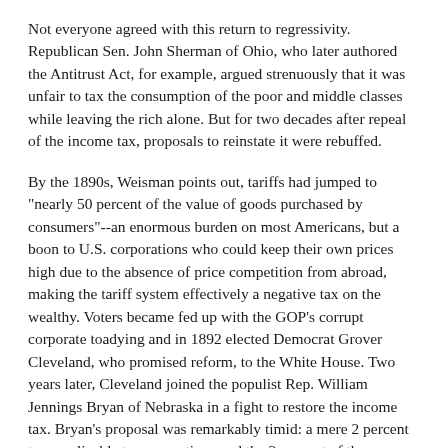Not everyone agreed with this return to regressivity. Republican Sen. John Sherman of Ohio, who later authored the Antitrust Act, for example, argued strenuously that it was unfair to tax the consumption of the poor and middle classes while leaving the rich alone. But for two decades after repeal of the income tax, proposals to reinstate it were rebuffed.
By the 1890s, Weisman points out, tariffs had jumped to "nearly 50 percent of the value of goods purchased by consumers"--an enormous burden on most Americans, but a boon to U.S. corporations who could keep their own prices high due to the absence of price competition from abroad, making the tariff system effectively a negative tax on the wealthy. Voters became fed up with the GOP's corrupt corporate toadying and in 1892 elected Democrat Grover Cleveland, who promised reform, to the White House. Two years later, Cleveland joined the populist Rep. William Jennings Bryan of Nebraska in a fight to restore the income tax. Bryan's proposal was remarkably timid: a mere 2 percent tax, applicable to corporations and the 2 percent of the population making more than $4,000 a year.
Nevertheless, it was quickly attacked. During the congressional debate, one opponent argued that poor Americans would feel "humiliated and degraded" by not having to pay the income tax,